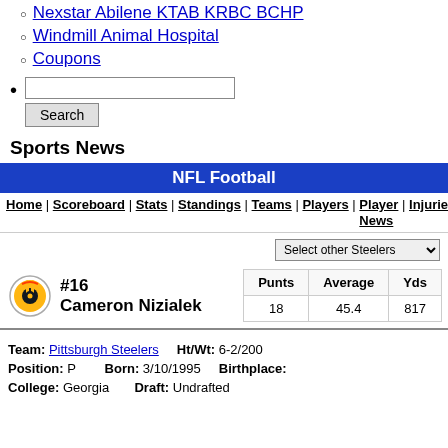Nexstar Abilene KTAB KRBC BCHP
Windmill Animal Hospital
Coupons
Search (input and button)
Sports News
NFL Football
Home | Scoreboard | Stats | Standings | Teams | Players | Player News | Injuries | Tra
Select other Steelers
#16 Cameron Nizialek
| Punts | Average | Yds |
| --- | --- | --- |
| 18 | 45.4 | 817 |
Team: Pittsburgh Steelers   Ht/Wt: 6-2/200
Position: P   Born: 3/10/1995   Birthplace:
College: Georgia   Draft: Undrafted